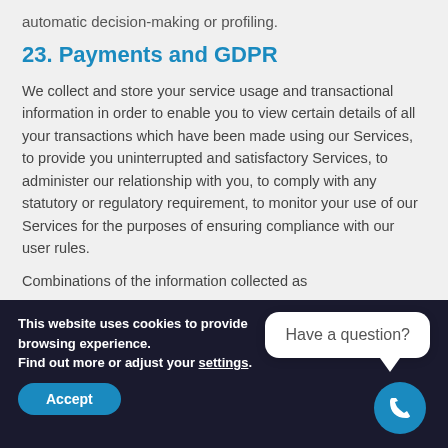automatic decision-making or profiling.
23. Payments and GDPR
We collect and store your service usage and transactional information in order to enable you to view certain details of all your transactions which have been made using our Services, to provide you uninterrupted and satisfactory Services, to administer our relationship with you, to comply with any statutory or regulatory requirement, to monitor your use of our Services for the purposes of ensuring compliance with our user rules.
Combinations of the information collected as
This website uses cookies to provide browsing experience.
Find out more or adjust your settings.
Accept
Have a question?